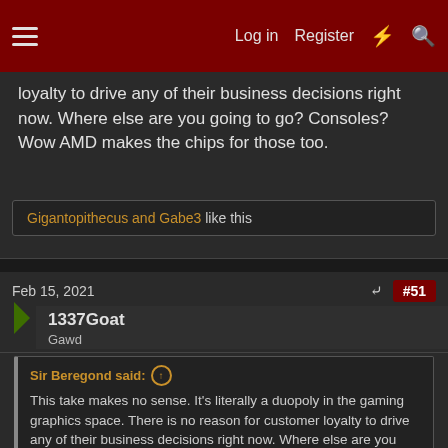Log in  Register  [lightning] [search]
loyalty to drive any of their business decisions right now. Where else are you going to go? Consoles? Wow AMD makes the chips for those too.
Gigantopithecus and Gabe3 like this
Feb 15, 2021  #51
1337Goat
Gawd
Sir Beregond said:
This take makes no sense. It's literally a duopoly in the gaming graphics space. There is no reason for customer loyalty to drive any of their business decisions right now. Where else are you going to go? Consoles? Wow AMD makes the chips for those too.
In the future, it might mean loyalty to buying high-end cards